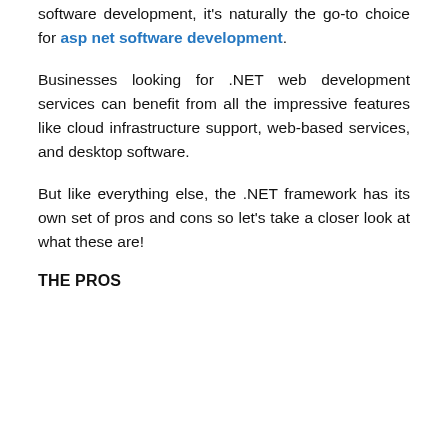software development, it's naturally the go-to choice for asp net software development.
Businesses looking for .NET web development services can benefit from all the impressive features like cloud infrastructure support, web-based services, and desktop software.
But like everything else, the .NET framework has its own set of pros and cons so let's take a closer look at what these are!
THE PROS